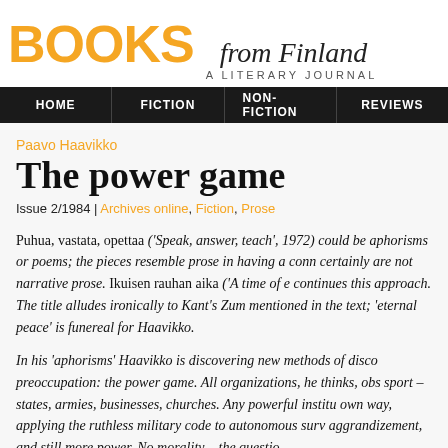BOOKS from Finland — A LITERARY JOURNAL
HOME | FICTION | NON-FICTION | REVIEWS
Paavo Haavikko
The power game
Issue 2/1984 | Archives online, Fiction, Prose
Puhua, vastata, opettaa ('Speak, answer, teach', 1972) could be aphorisms or poems; the pieces resemble prose in having a conn certainly are not narrative prose. Ikuisen rauhan aika ('A time of e continues this approach. The title alludes ironically to Kant's Zum mentioned in the text; 'eternal peace' is funereal for Haavikko.
In his 'aphorisms' Haavikko is discovering new methods of disco preoccupation: the power game. All organizations, he thinks, obs sport – states, armies, businesses, churches. Any powerful institu own way, applying the ruthless military code to autonomous surv aggrandizement, and still more power. No morality – the questio